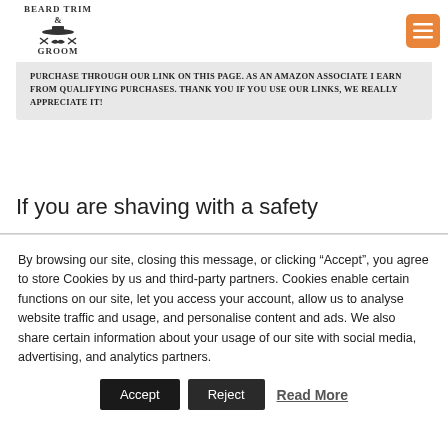BEARD TRIM & GROOM
PURCHASE THROUGH OUR LINK ON THIS PAGE. AS AN AMAZON ASSOCIATE I EARN FROM QUALIFYING PURCHASES. THANK YOU IF YOU USE OUR LINKS, WE REALLY APPRECIATE IT!
If you are shaving with a safety
By browsing our site, closing this message, or clicking “Accept”, you agree to store Cookies by us and third-party partners. Cookies enable certain functions on our site, let you access your account, allow us to analyse website traffic and usage, and personalise content and ads. We also share certain information about your usage of our site with social media, advertising, and analytics partners.
Accept | Reject | Read More